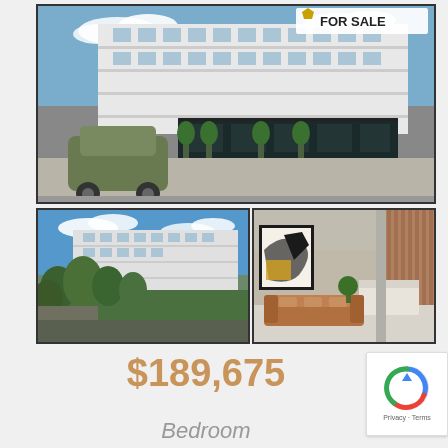[Figure (photo): Exterior street-level view of a multi-story white commercial/mixed-use building with a dark-facade retail storefront at ground level, a green car in the foreground parking lot, and a 'FOR SALE' badge with a gold star in the top-right corner]
[Figure (photo): Aerial/elevated view of the same multi-story white building surrounded by palm trees and greenery]
[Figure (photo): Interior view of a modern lobby/lounge area with abstract wall art, orange/tan sectional sofa, wooden accent wall, and a reception desk]
$189,675
Bedroom